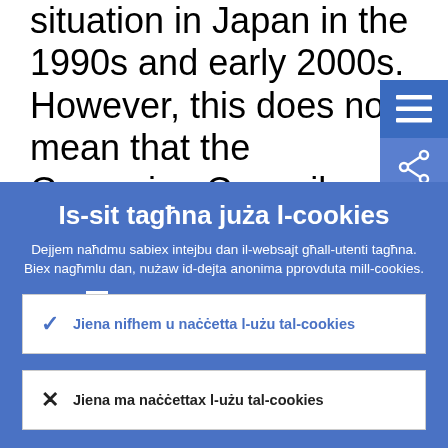situation in Japan in the 1990s and early 2000s. However, this does not mean that the Governing Council should remain unconcerned and that is the reason why we had such a wide and rich discussion today.
Is-sit tagħna juża l-cookies
Dejjem naħdmu sabiex intejbu dan il-websajt għall-utenti tagħna. Biex nagħmlu dan, nużaw id-dejta anonima pprovduta mill-cookies.
› Tgħallem iktar dwar kif nużaw il-cookies
✓ Jiena nifhem u naċċetta l-użu tal-cookies
✕ Jiena ma naċċettax l-użu tal-cookies